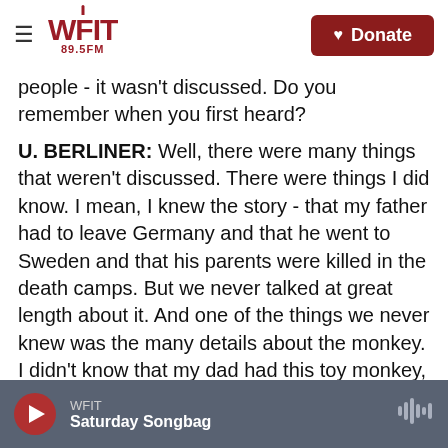WFIT 89.5FM | Donate
people - it wasn't discussed. Do you remember when you first heard?
U. BERLINER: Well, there were many things that weren't discussed. There were things I did know. I mean, I knew the story - that my father had to leave Germany and that he went to Sweden and that his parents were killed in the death camps. But we never talked at great length about it. And one of the things we never knew was the many details about the monkey. I didn't know that my dad had this toy monkey, that he took it with him, that it was personally so meaningful for him. And I didn't know that he had given it until...
WFIT | Saturday Songbag